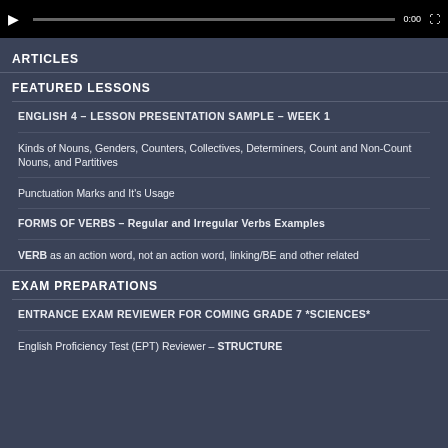[Figure (screenshot): Video player bar with play button, progress bar, time label, and fullscreen button on black background]
ARTICLES
FEATURED LESSONS
ENGLISH 4 – LESSON PRESENTATION SAMPLE – WEEK 1
Kinds of Nouns, Genders, Counters, Collectives, Determiners, Count and Non-Count Nouns, and Partitives
Punctuation Marks and It's Usage
FORMS OF VERBS – Regular and Irregular Verbs Examples
VERB as an action word, not an action word, linking/BE and other related
EXAM PREPARATIONS
ENTRANCE EXAM REVIEWER FOR COMING GRADE 7 *SCIENCES*
English Proficiency Test (EPT) Reviewer – STRUCTURE